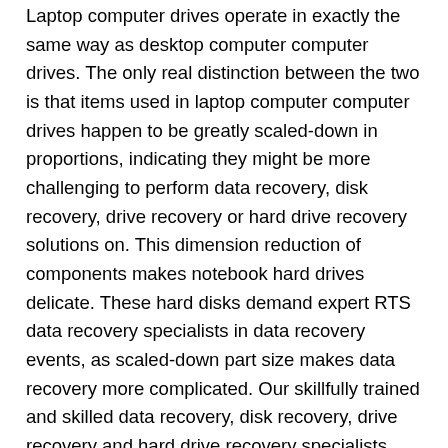Laptop computer drives operate in exactly the same way as desktop computer computer drives. The only real distinction between the two is that items used in laptop computer computer drives happen to be greatly scaled-down in proportions, indicating they might be more challenging to perform data recovery, disk recovery, drive recovery or hard drive recovery solutions on. This dimension reduction of components makes notebook hard drives delicate. These hard disks demand expert RTS data recovery specialists in data recovery events, as scaled-down part size makes data recovery more complicated. Our skillfully trained and skilled data recovery, disk recovery, drive recovery and hard drive recovery specialists have perfected and developed their data recovery capabilities to guarantee your own disk drive is provided with the very best solutions inside Oakwood Hills, Delaware! The price of RTS Data Recovery storage retrieval with regard to laptop disk drives is definitely identical to desktop hard drive. RTS Data Recovery